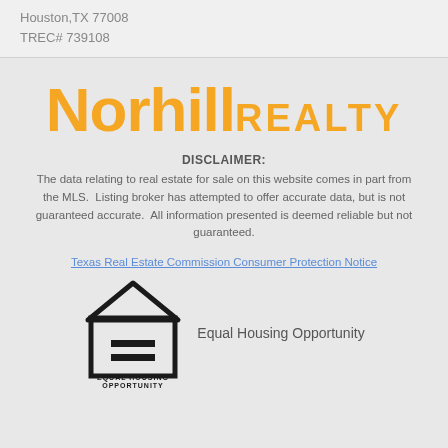Houston,TX 77008
TREC# 739108
[Figure (logo): Norhill Realty logo in orange text]
DISCLAIMER:
The data relating to real estate for sale on this website comes in part from the MLS. Listing broker has attempted to offer accurate data, but is not guaranteed accurate. All information presented is deemed reliable but not guaranteed.
Texas Real Estate Commission Consumer Protection Notice
[Figure (logo): Equal Housing Opportunity logo with house and equal sign icon]
Equal Housing Opportunity